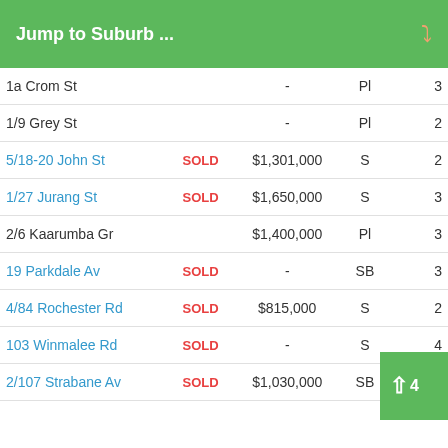Jump to Suburb ...
| Address | Status | Price | Type | Beds |
| --- | --- | --- | --- | --- |
| 1a Crom St |  | - | Pl | 3 |
| 1/9 Grey St |  | - | Pl | 2 |
| 5/18-20 John St | SOLD | $1,301,000 | S | 2 |
| 1/27 Jurang St | SOLD | $1,650,000 | S | 3 |
| 2/6 Kaarumba Gr |  | $1,400,000 | Pl | 3 |
| 19 Parkdale Av | SOLD | - | SB | 3 |
| 4/84 Rochester Rd | SOLD | $815,000 | S | 2 |
| 103 Winmalee Rd | SOLD | - | S | 4 |
| 2/107 Strabane Av | SOLD | $1,030,000 | SB | 2 |